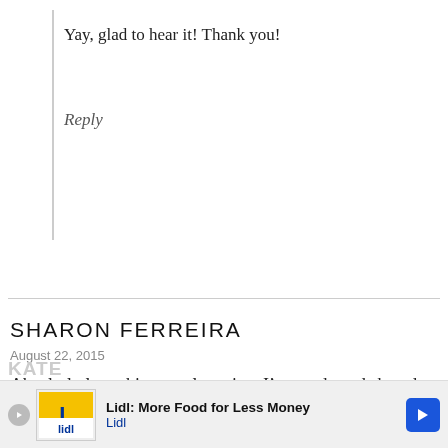Yay, glad to hear it! Thank you!
Reply
SHARON FERREIRA
August 22, 2015
Absolutly love this granola recipe. I’ve made and shared with my friends and they rave about it! Thank you!
★★★★★
Reply
[Figure (infographic): Lidl advertisement banner: yellow Lidl logo, text 'Lidl: More Food for Less Money' with blue Lidl text and a blue navigation arrow icon]